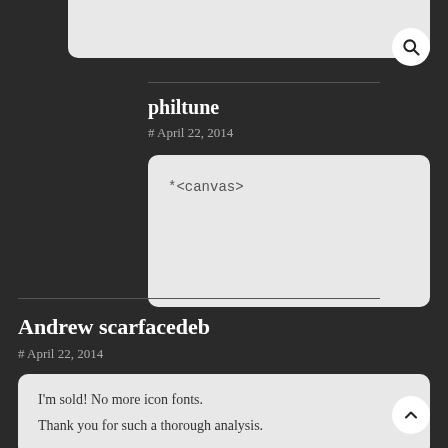[Figure (screenshot): Top truncated card/panel with gray background]
philtune
# April 22, 2014
*<canvas>
Andrew scarfacedeb
# April 22, 2014
I'm sold! No more icon fonts.
Thank you for such a thorough analysis.